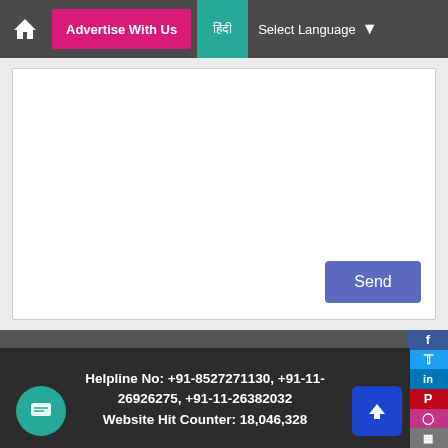Advertise With Us | हिंदी | Select Language
Send
Terms and Conditions | Privacy policy | Disclaimer Policy | Feedback | Office Login | MSME Global Mart Promotional Material | ICT Promotional Material | Login for PSU's
Helpline No: +91-8527271130, +91-11-26926275, +91-11-26382032
Website Hit Counter: 18,046,328